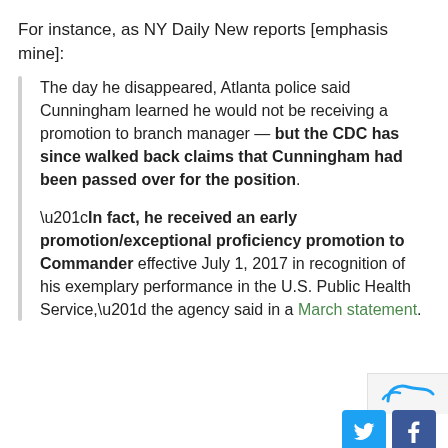For instance, as NY Daily New reports [emphasis mine]:
The day he disappeared, Atlanta police said Cunningham learned he would not be receiving a promotion to branch manager — but the CDC has since walked back claims that Cunningham had been passed over for the position.
“In fact, he received an early promotion/exceptional proficiency promotion to Commander effective July 1, 2017 in recognition of his exemplary performance in the U.S. Public Health Service,” the agency said in a March statement.